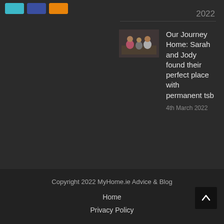[Figure (other): Three colored buttons: cyan, blue, orange]
2022
[Figure (photo): Family photo thumbnail - people sitting together on a couch]
Our Journey Home: Sarah and Jody found their perfect place with permanent tsb
4th March 2022
Copyright 2022 MyHome.ie Advice & Blog
Home
Privacy Policy